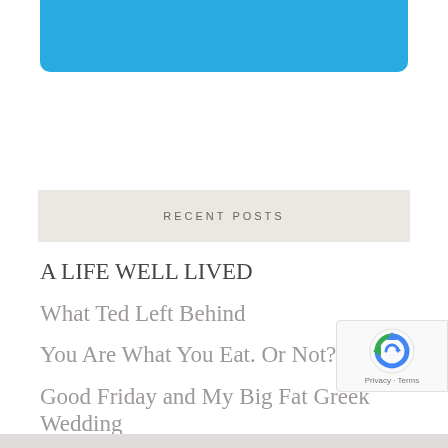[Figure (other): Blue rounded banner/header at top of page]
RECENT POSTS
A LIFE WELL LIVED
What Ted Left Behind
You Are What You Eat. Or Not?
Good Friday and My Big Fat Greek Wedding
Who Was Wrong About You?
[Figure (other): reCAPTCHA badge with logo and Privacy - Terms text]